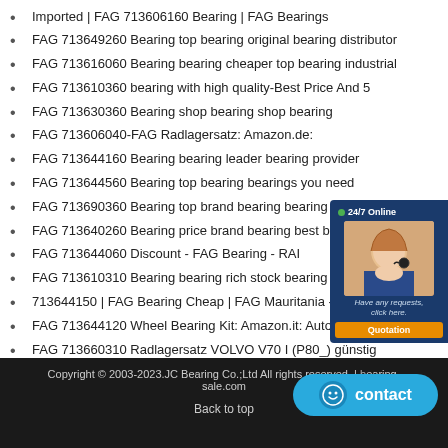Imported | FAG 713606160 Bearing | FAG Bearings
FAG 713649260 Bearing top bearing original bearing distributor
FAG 713616060 Bearing bearing cheaper top bearing industrial
FAG 713610360 bearing with high quality-Best Price And 5
FAG 713630360 Bearing shop bearing shop bearing
FAG 713606040-FAG Radlagersatz: Amazon.de:
FAG 713644160 Bearing bearing leader bearing provider
FAG 713644560 Bearing top bearing bearings you need
FAG 713690360 Bearing top brand bearing bearing expert inqu
FAG 713640260 Bearing price brand bearing best bearing supp
FAG 713644060 Discount - FAG Bearing - RAI
FAG 713610310 Bearing bearing rich stock bearing cheaper
713644150 | FAG Bearing Cheap | FAG Mauritania - FAG
FAG 713644120 Wheel Bearing Kit: Amazon.it: Auto e
FAG 713660310 Radlagersatz VOLVO V70 I (P80_) günstig
Wheel Hub Bearing 7701204667 Tgb12095s44 Vkba968 713630380
FAG 713644190 Bearing bearing global purchase original bearing
Copyright © 2003-2023.JC Bearing Co.;Ltd All rights reserved. | bearing-sale.com
Back to top